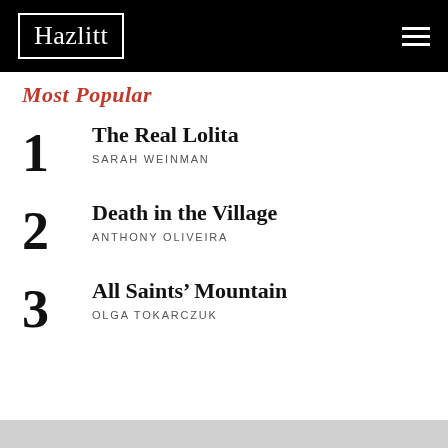Hazlitt
Most Popular
1 The Real Lolita SARAH WEINMAN
2 Death in the Village ANTHONY OLIVEIRA
3 All Saints' Mountain OLGA TOKARCZUK